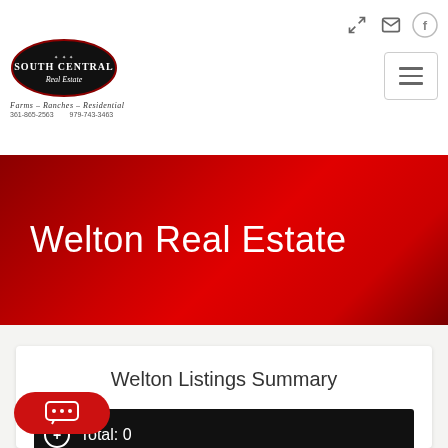[Figure (logo): South Central Real Estate logo — black oval with white text, tagline 'Farms - Ranches - Residential', phone numbers 361-865-2563 and 979-743-3463]
Welton Real Estate
Welton Listings Summary
Total: 0